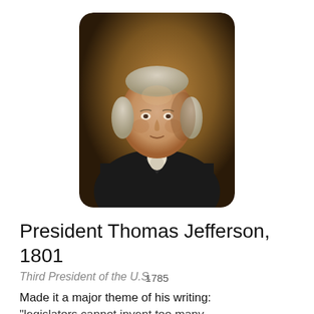[Figure (photo): Portrait painting of President Thomas Jefferson, depicted in a dark coat with white cravat against a warm brown background, in the style of an 18th-century formal portrait.]
President Thomas Jefferson, 1801
Third President of the U.S.
1785
Made it a major theme of his writing: "legislators cannot invent too many...